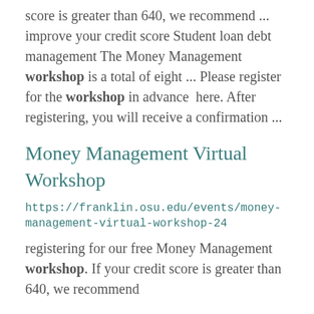score is greater than 640, we recommend ... improve your credit score Student loan debt management The Money Management workshop is a total of eight ... Please register for the workshop in advance  here. After registering, you will receive a confirmation ...
Money Management Virtual Workshop
https://franklin.osu.edu/events/money-management-virtual-workshop-24
registering for our free Money Management workshop. If your credit score is greater than 640, we recommend